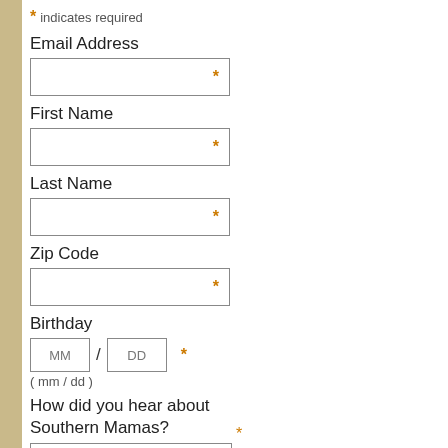* indicates required
Email Address
First Name
Last Name
Zip Code
Birthday
( mm / dd )
How did you hear about Southern Mamas?
Email Format
html